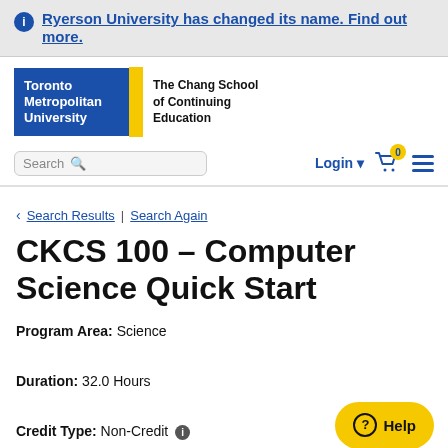Ryerson University has changed its name. Find out more.
[Figure (logo): Toronto Metropolitan University / The Chang School of Continuing Education logo]
Search | Login | Cart 0 | Menu
< Search Results | Search Again
CKCS 100 - Computer Science Quick Start
Program Area: Science
Duration: 32.0 Hours
Credit Type: Non-Credit